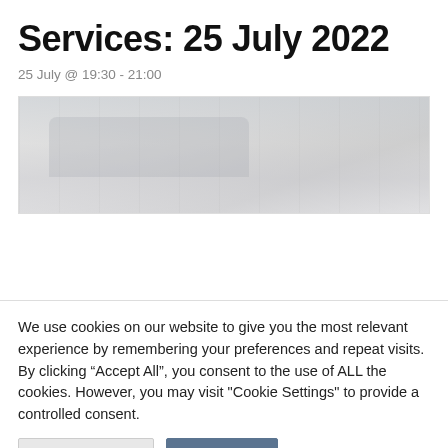Services: 25 July 2022
25 July @ 19:30 - 21:00
[Figure (photo): Washed-out, low-contrast photograph of vehicles, likely cars parked or in a lot, very faded appearance.]
We use cookies on our website to give you the most relevant experience by remembering your preferences and repeat visits. By clicking “Accept All”, you consent to the use of ALL the cookies. However, you may visit “Cookie Settings” to provide a controlled consent.
Cookie Settings | Accept All